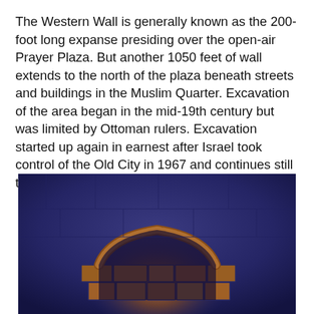The Western Wall is generally known as the 200-foot long expanse presiding over the open-air Prayer Plaza. But another 1050 feet of wall extends to the north of the plaza beneath streets and buildings in the Muslim Quarter. Excavation of the area began in the mid-19th century but was limited by Ottoman rulers. Excavation started up again in earnest after Israel took control of the Old City in 1967 and continues still today.
[Figure (photo): A photo of an ancient stone arch inside a tunnel or excavation, with blue-toned lighting and warm orange/brown stonework visible in the archway and surrounding masonry.]